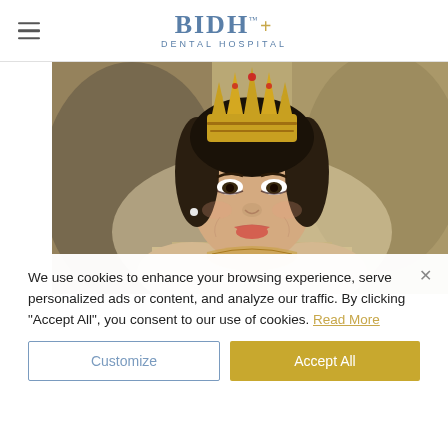BIDH DENTAL HOSPITAL
[Figure (photo): Smiling young woman wearing an ornate golden crown/tiara, dressed in a gold embroidered traditional costume, photographed from shoulders up against a blurred background.]
We use cookies to enhance your browsing experience, serve personalized ads or content, and analyze our traffic. By clicking "Accept All", you consent to our use of cookies. Read More